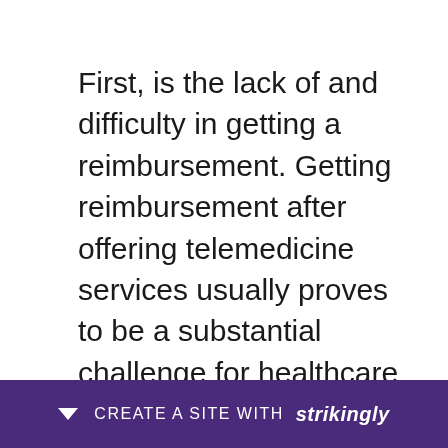First, is the lack of and difficulty in getting a reimbursement. Getting reimbursement after offering telemedicine services usually proves to be a substantial challenge for healthcare providers. This has been as a result of factors such as Medicare bodies imposing several restrictions and limitations in regards to reimbursement coverage. For example, telemedicine Palm Beach FL reimbursement being largely limited to nonmetropolitan areas, specific institutions, and the type of telemedicine service in question. This is aimed toward... and expl... the
CREATE A SITE WITH strikingly